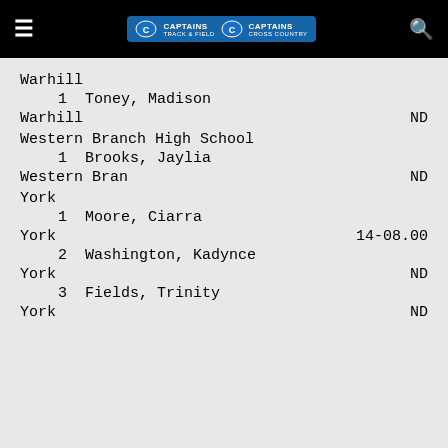Captains Track & Field / Captains Cross Country
Warhill
1  Toney, Madison
Warhill   ND
Western Branch High School
1  Brooks, Jaylia
Western Bran   ND
York
1  Moore, Ciarra
York   14-08.00
2  Washington, Kadynce
York   ND
3  Fields, Trinity
York   ND